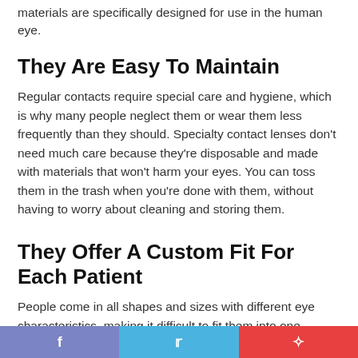materials are specifically designed for use in the human eye.
They Are Easy To Maintain
Regular contacts require special care and hygiene, which is why many people neglect them or wear them less frequently than they should. Specialty contact lenses don't need much care because they're disposable and made with materials that won't harm your eyes. You can toss them in the trash when you're done with them, without having to worry about cleaning and storing them.
They Offer A Custom Fit For Each Patient
People come in all shapes and sizes with different eye characteristics, making it difficult to fit them into one standard contact lens. Specialty contact lenses are designed for each
f   t   p